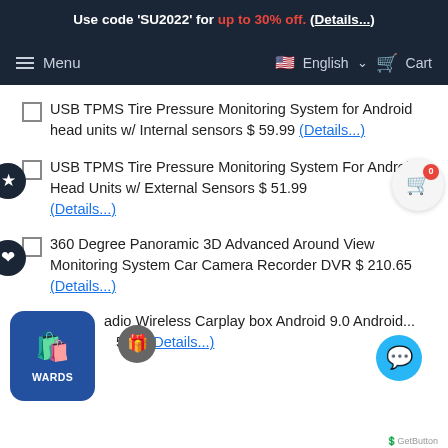Use code 'SU2022' for up to 30% off. (Details...)
Menu  English  Cart
USB TPMS Tire Pressure Monitoring System for Android head units w/ Internal sensors $ 59.99 (Details...)
USB TPMS Tire Pressure Monitoring System For Android Head Units w/ External Sensors $ 51.99 (Details...)
360 Degree Panoramic 3D Advanced Around View Monitoring System Car Camera Recorder DVR $ 210.65 (Details...)
Radio Wireless Carplay box Android 9.0 Android ... 5.65 (Details...)